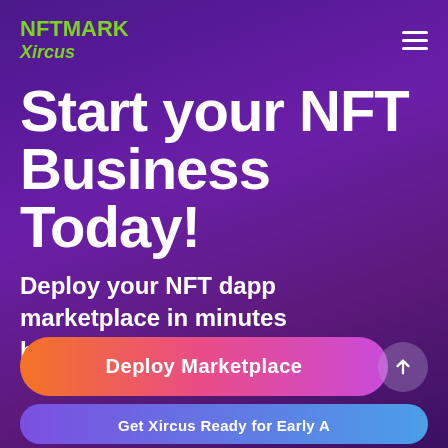NFT MARK Xircus ☰
Start your NFT Business Today!
Deploy your NFT dapp marketplace in minutes bundled with awesome features
[Figure (other): Deploy Marketplace button with gradient orange-to-pink-to-purple, rounded pill shape, and an up-arrow circle button to the right]
[Figure (other): Partially visible second button at the bottom with blue-purple gradient, partially cut off text]